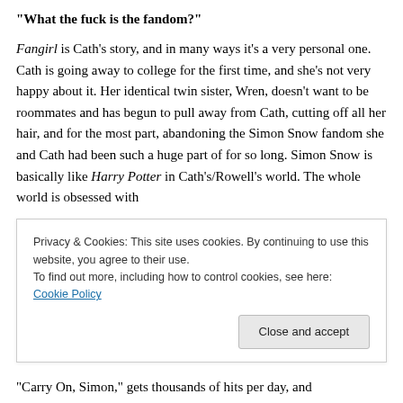“What the fuck is the fandom?”
Fangirl is Cath’s story, and in many ways it’s a very personal one. Cath is going away to college for the first time, and she’s not very happy about it. Her identical twin sister, Wren, doesn’t want to be roommates and has begun to pull away from Cath, cutting off all her hair, and for the most part, abandoning the Simon Snow fandom she and Cath had been such a huge part of for so long. Simon Snow is basically like Harry Potter in Cath’s/Rowell’s world. The whole world is obsessed with
Privacy & Cookies: This site uses cookies. By continuing to use this website, you agree to their use.
To find out more, including how to control cookies, see here: Cookie Policy
“Carry On, Simon,” gets thousands of hits per day, and